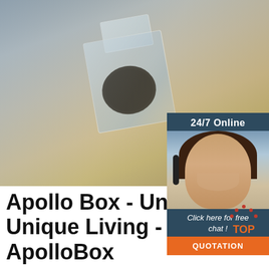[Figure (photo): Product photo of a crystal glass perfume bottle with black circular opening, placed on a gold/metallic surface with decorative items. Chat widget overlay on the right showing a female customer service agent with headset, '24/7 Online' header, 'Click here for free chat!' text, and an orange 'QUOTATION' button.]
Apollo Box - Unique Gi... Unique Living - ApolloBox
Apollo Box is the marketplace to discover one-of-a-kind products from vendors around the world. We hand pick trendy, creative gift ideas for you, your